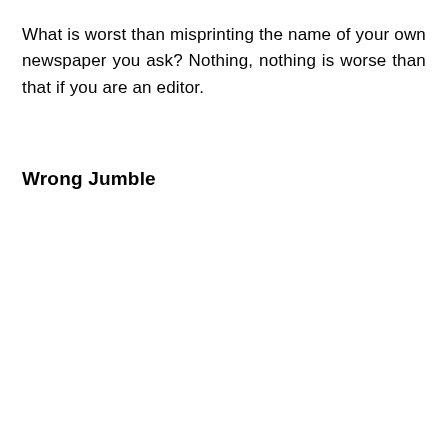What is worst than misprinting the name of your own newspaper you ask? Nothing, nothing is worse than that if you are an editor.
Wrong Jumble